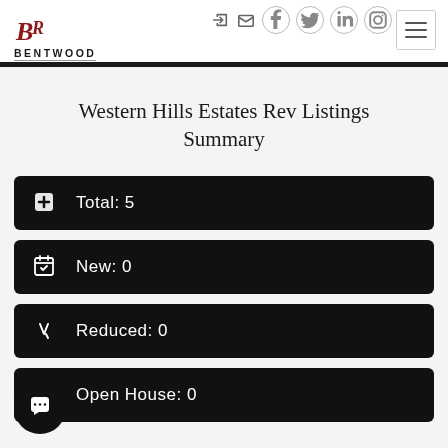Bentwood Realty — navigation header with logo and icons
Western Hills Estates Rev Listings Summary
Total: 5
New: 0
Reduced: 0
Open House: 0